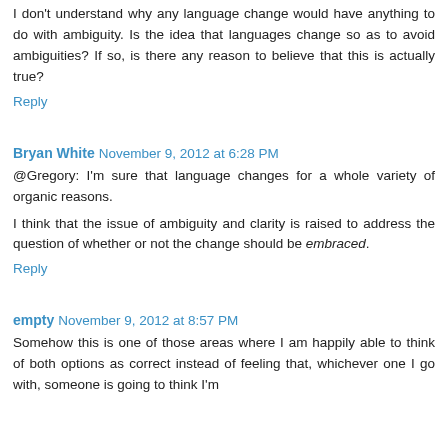I don't understand why any language change would have anything to do with ambiguity. Is the idea that languages change so as to avoid ambiguities? If so, is there any reason to believe that this is actually true?
Reply
Bryan White  November 9, 2012 at 6:28 PM
@Gregory: I'm sure that language changes for a whole variety of organic reasons.
I think that the issue of ambiguity and clarity is raised to address the question of whether or not the change should be embraced.
Reply
empty  November 9, 2012 at 8:57 PM
Somehow this is one of those areas where I am happily able to think of both options as correct instead of feeling that, whichever one I go with, someone is going to think I'm